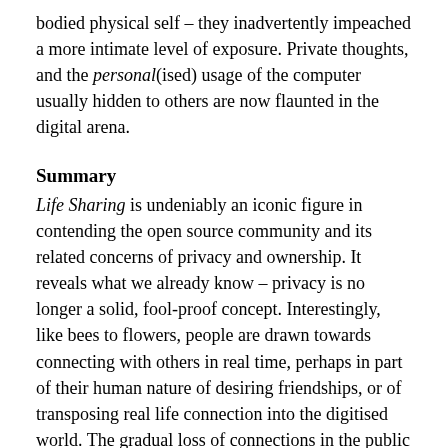bodied physical self – they inadvertently impeached a more intimate level of exposure. Private thoughts, and the personal(ised) usage of the computer usually hidden to others are now flaunted in the digital arena.
Summary
Life Sharing is undeniably an iconic figure in contending the open source community and its related concerns of privacy and ownership. It reveals what we already know – privacy is no longer a solid, fool-proof concept. Interestingly, like bees to flowers, people are drawn towards connecting with others in real time, perhaps in part of their human nature of desiring friendships, or of transposing real life connection into the digitised world. The gradual loss of connections in the public arena of the digital world has resulted in a more desperate attempt for users to connect with another, be it